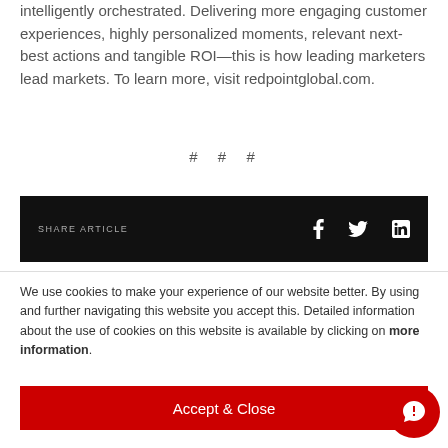intelligently orchestrated. Delivering more engaging customer experiences, highly personalized moments, relevant next-best actions and tangible ROI—this is how leading marketers lead markets. To learn more, visit redpointglobal.com.
# # #
SHARE ARTICLE
We use cookies to make your experience of our website better. By using and further navigating this website you accept this. Detailed information about the use of cookies on this website is available by clicking on more information.
Accept & Close